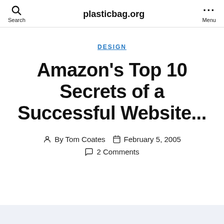plasticbag.org
DESIGN
Amazon's Top 10 Secrets of a Successful Website...
By Tom Coates  February 5, 2005  2 Comments